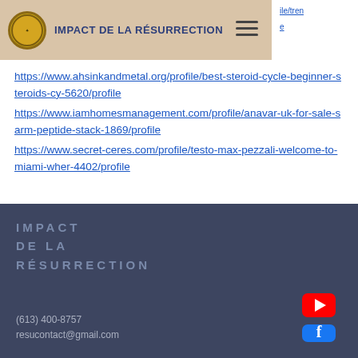IMPACT DE LA RÉSURRECTION
https://www.ahsinkandmetal.org/profile/best-steroid-cycle-beginner-steroids-cy-5620/profile
https://www.iamhomesmanagement.com/profile/anavar-uk-for-sale-sarm-peptide-stack-1869/profile
https://www.secret-ceres.com/profile/testo-max-pezzali-welcome-to-miami-wher-4402/profile
IMPACT DE LA RÉSURRECTION
(613) 400-8757
resucontact@gmail.com